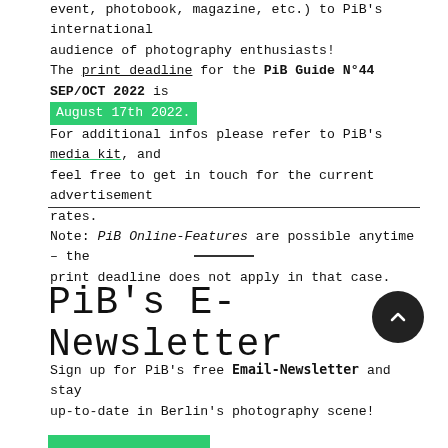event, photobook, magazine, etc.) to PiB's international audience of photography enthusiasts! The print deadline for the PiB Guide N°44 SEP/OCT 2022 is August 17th 2022. For additional infos please refer to PiB's media kit, and feel free to get in touch for the current advertisement rates. Note: PiB Online-Features are possible anytime – the print deadline does not apply in that case.
PiB's E-Newsletter
Sign up for PiB's free Email-Newsletter and stay up-to-date in Berlin's photography scene!